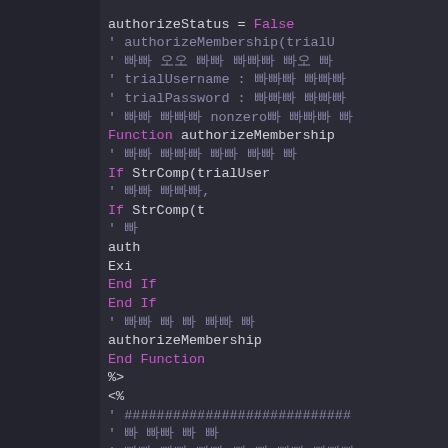[Figure (screenshot): Code editor screenshot showing VBScript/ASP code with dark background. Contains authorizeStatus = False, authorizeMembership function definition with StrComp calls, End If, End Function, and ASP delimiters <% %>. Mixed Korean and English text in comments.]